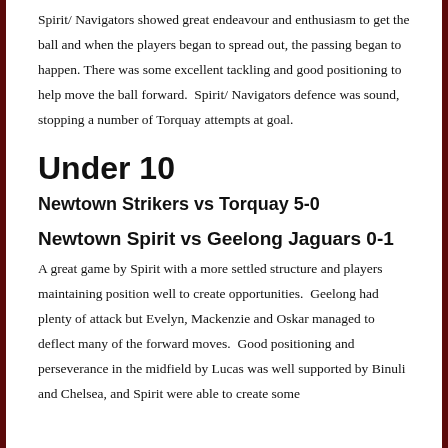Spirit/ Navigators showed great endeavour and enthusiasm to get the ball and when the players began to spread out, the passing began to happen. There was some excellent tackling and good positioning to help move the ball forward.  Spirit/ Navigators defence was sound, stopping a number of Torquay attempts at goal.
Under 10
Newtown Strikers vs Torquay 5-0
Newtown Spirit vs Geelong Jaguars 0-1
A great game by Spirit with a more settled structure and players maintaining position well to create opportunities.  Geelong had plenty of attack but Evelyn, Mackenzie and Oskar managed to deflect many of the forward moves.  Good positioning and perseverance in the midfield by Lucas was well supported by Binuli and Chelsea, and Spirit were able to create some